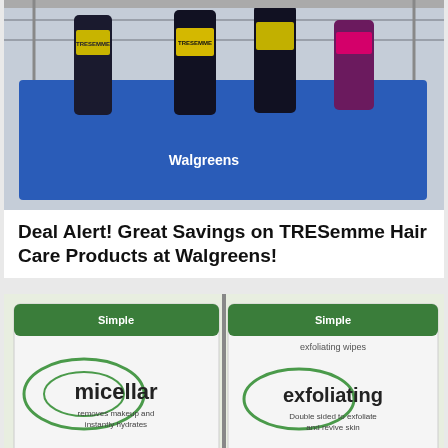[Figure (photo): Photo of TRESemme hair care products in a blue Walgreens shopping basket/cart, showing multiple dark bottles with yellow and pink labels on a blue tray with the Walgreens logo visible.]
Deal Alert! Great Savings on TRESemme Hair Care Products at Walgreens!
[Figure (photo): Photo of Simple brand skincare products on a store shelf showing 'Simple micellar' wipes (removes makeup and instantly hydrates) priced at $7.99 and 'Simple exfoliating' wipes (Double sided to exfoliate and revive skin) priced at $6.29, with yellow price tags visible at the bottom.]